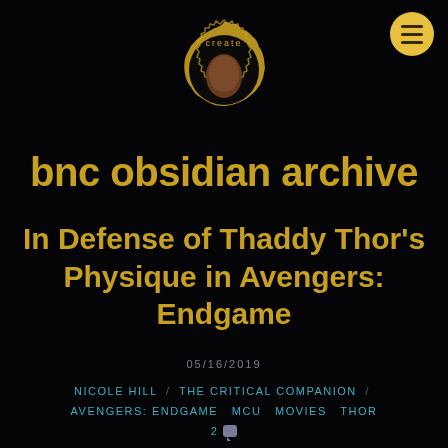[Figure (logo): Create logo: a badge/seal shape in gold with the word 'create' curved around the top and a brown teardrop/egg shape in the center]
bnc obsidian archive
In Defense of Thaddy Thor's Physique in Avengers: Endgame
05/16/2019
NICOLE HILL / THE CRITICAL COMPANION
AVENGERS: ENDGAME  MCU  MOVIES  THOR
2 💬